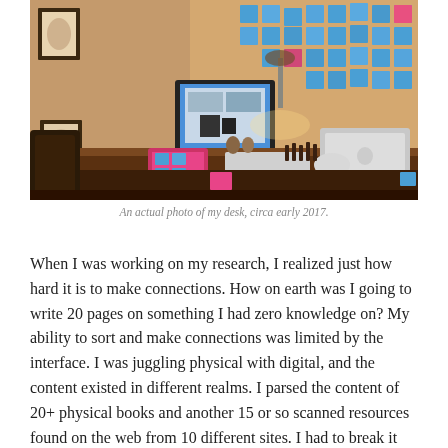[Figure (photo): A photograph of a desk with a large monitor, MacBook, keyboard, chess pieces, and many blue and pink sticky notes covering the wall behind the desk. The desk is in a room with warm lighting and some framed artwork on the walls.]
An actual photo of my desk, circa early 2017.
When I was working on my research, I realized just how hard it is to make connections. How on earth was I going to write 20 pages on something I had zero knowledge on? My ability to sort and make connections was limited by the interface. I was juggling physical with digital, and the content existed in different realms. I parsed the content of 20+ physical books and another 15 or so scanned resources found on the web from 10 different sites. I had to break it